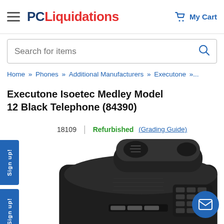PC Liquidations — My Cart
Search for items
Home » Phones » Additional Manufacturers » Executone »...
Executone Isoetec Medley Model 12 Black Telephone (84390)
18109 | Refurbished (Grading Guide)
[Figure (photo): Close-up photo of a black Executone Isoetec Medley Model 12 desk telephone showing the handset and keypad]
Sign up!
Sign up!